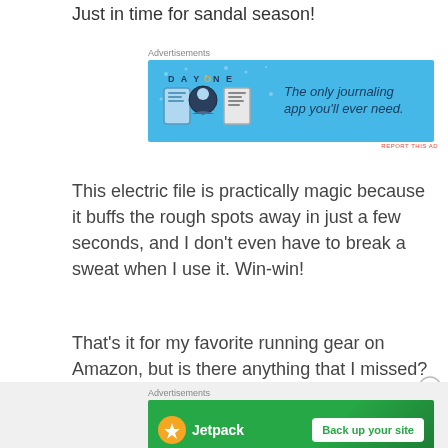Just in time for sandal season!
[Figure (illustration): Day One journaling app advertisement banner with light blue background showing app icons and text 'The only journaling app you'll ever need.']
This electric file is practically magic because it buffs the rough spots away in just a few seconds, and I don't even have to break a sweat when I use it. Win-win!
That's it for my favorite running gear on Amazon, but is there anything that I missed? Something you'd like to see on a future list? Let me know in the comments!
[Figure (illustration): Jetpack advertisement banner with green background showing Jetpack logo and 'Back up your site' button]